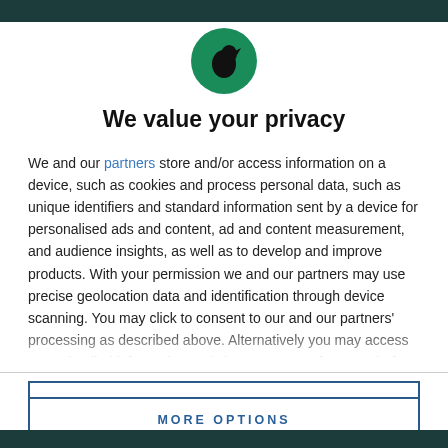[Figure (logo): Circular green logo with a black silhouette of a figure (bird/crow) facing right]
We value your privacy
We and our partners store and/or access information on a device, such as cookies and process personal data, such as unique identifiers and standard information sent by a device for personalised ads and content, ad and content measurement, and audience insights, as well as to develop and improve products. With your permission we and our partners may use precise geolocation data and identification through device scanning. You may click to consent to our and our partners' processing as described above. Alternatively you may access more detailed information and change your preferences before consenting or to refuse consenting.
AGREE
MORE OPTIONS